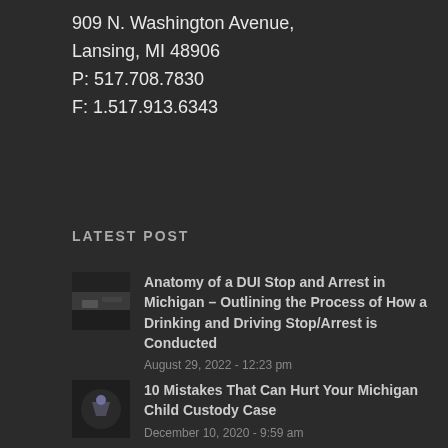909 N. Washington Avenue,
Lansing, MI 48906
P: 517.708.7830
F: 1.517.913.6343
LATEST POST
[Figure (photo): Small thumbnail image showing hands, related to DUI stop article]
Anatomy of a DUI Stop and Arrest in Michigan – Outlining the Process of How a Drinking and Driving Stop/Arrest is Conducted
August 29, 2022 - 12:23 pm
[Figure (photo): Small thumbnail image with logo/icon, related to child custody article]
10 Mistakes That Can Hurt Your Michigan Child Custody Case
December 10, 2020 - 9:59 am